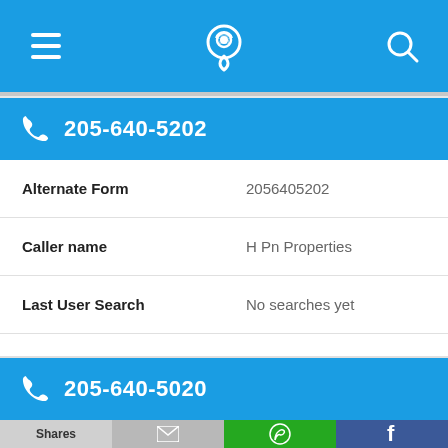[Figure (screenshot): Top navigation bar with menu (hamburger), phone-location icon, and search icon on blue background]
205-640-5202
| Alternate Form | 2056405202 |
| Caller name | H Pn Properties |
| Last User Search | No searches yet |
| Comments |  |
205-640-5020
[Figure (screenshot): Bottom toolbar with Shares, email, WhatsApp, and Facebook buttons]